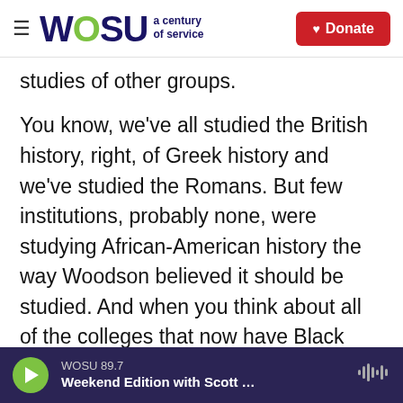WOSU a century of service | Donate
studies of other groups.
You know, we've all studied the British history, right, of Greek history and we've studied the Romans. But few institutions, probably none, were studying African-American history the way Woodson believed it should be studied. And when you think about all of the colleges that now have Black studies and African and African-American studies, those are a direct result of what Woodson was advocating. He didn't want a class he wanted the study of. And you can see his fingerprints on all of those programs throughout the country."
WOSU 89.7 | Weekend Edition with Scott ...